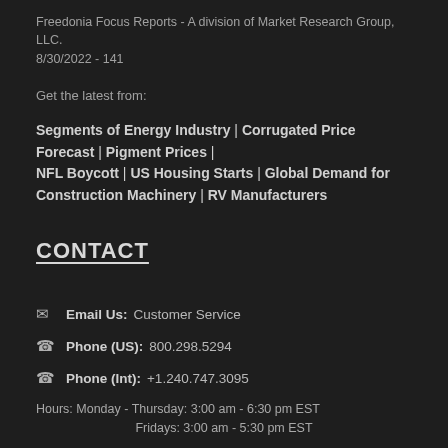Freedonia Focus Reports - A division of Market Research Group, LLC.
8/30/2022 - 141
Get the latest from:
Segments of Energy Industry | Corrugated Price Forecast | Pigment Prices |
NFL Boycott | US Housing Starts | Global Demand for Construction Machinery | RV Manufacturers
CONTACT
✉  Email Us:   Customer Service
☎  Phone (US):   800.298.5294
☎  Phone (Int):   +1.240.747.3095
Hours: Monday - Thursday: 3:00 am - 6:30 pm EST
        Fridays: 3:00 am - 5:30 pm EST